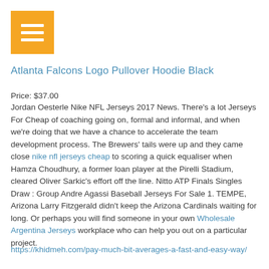[Figure (logo): Orange/yellow square hamburger menu icon with three white horizontal lines]
Atlanta Falcons Logo Pullover Hoodie Black
Price: $37.00
Jordan Oesterle Nike NFL Jerseys 2017 News. There’s a lot Jerseys For Cheap of coaching going on, formal and informal, and when we’re doing that we have a chance to accelerate the team development process. The Brewers’ tails were up and they came close nike nfl jerseys cheap to scoring a quick equaliser when Hamza Choudhury, a former loan player at the Pirelli Stadium, cleared Oliver Sarkic’s effort off the line. Nitto ATP Finals Singles Draw : Group Andre Agassi Baseball Jerseys For Sale 1. TEMPE, Arizona Larry Fitzgerald didn’t keep the Arizona Cardinals waiting for long. Or perhaps you will find someone in your own Wholesale Argentina Jerseys workplace who can help you out on a particular project.
https://khidmeh.com/pay-much-bit-averages-a-fast-and-easy-way/